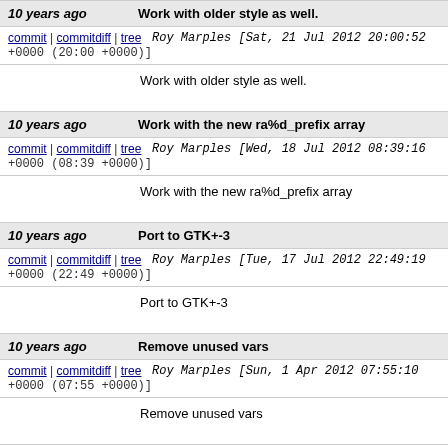10 years ago | Work with older style as well.
commit | commitdiff | tree  Roy Marples [Sat, 21 Jul 2012 20:00:52 +0000 (20:00 +0000)]
Work with older style as well.
10 years ago | Work with the new ra%d_prefix array
commit | commitdiff | tree  Roy Marples [Wed, 18 Jul 2012 08:39:16 +0000 (08:39 +0000)]
Work with the new ra%d_prefix array
10 years ago | Port to GTK+-3
commit | commitdiff | tree  Roy Marples [Tue, 17 Jul 2012 22:49:19 +0000 (22:49 +0000)]
Port to GTK+-3
10 years ago | Remove unused vars
commit | commitdiff | tree  Roy Marples [Sun, 1 Apr 2012 07:55:10 +0000 (07:55 +0000)]
Remove unused vars